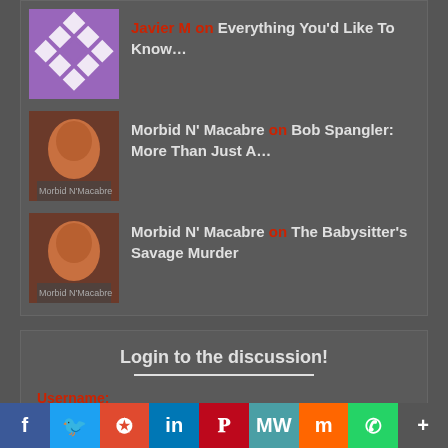Javier M on Everything You'd Like To Know…
Morbid N' Macabre on Bob Spangler: More Than Just A…
Morbid N' Macabre on The Babysitter's Savage Murder
Login to the discussion!
Username:
Password: